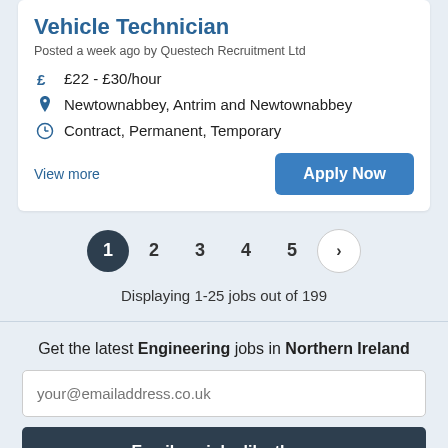Vehicle Technician
Posted a week ago by Questech Recruitment Ltd
£ £22 - £30/hour
Newtownabbey, Antrim and Newtownabbey
Contract, Permanent, Temporary
View more
Apply Now
1 2 3 4 5 >
Displaying 1-25 jobs out of 199
Get the latest Engineering jobs in Northern Ireland
your@emailaddress.co.uk
Email me jobs like these